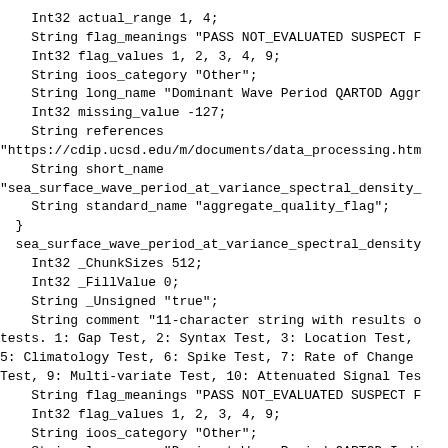Int32 actual_range 1, 4;
    String flag_meanings "PASS NOT_EVALUATED SUSPECT F
    Int32 flag_values 1, 2, 3, 4, 9;
    String ioos_category "Other";
    String long_name "Dominant Wave Period QARTOD Aggr
    Int32 missing_value -127;
    String references
"https://cdip.ucsd.edu/m/documents/data_processing.htm
    String short_name
"sea_surface_wave_period_at_variance_spectral_density_
    String standard_name "aggregate_quality_flag";
  }
  sea_surface_wave_period_at_variance_spectral_density
    Int32 _ChunkSizes 512;
    Int32 _FillValue 0;
    String _Unsigned "true";
    String comment "11-character string with results o
tests. 1: Gap Test, 2: Syntax Test, 3: Location Test,
5: Climatology Test, 6: Spike Test, 7: Rate of Change
Test, 9: Multi-variate Test, 10: Attenuated Signal Tes
    String flag_meanings "PASS NOT_EVALUATED SUSPECT F
    Int32 flag_values 1, 2, 3, 4, 9;
    String ioos_category "Other";
    String long_name "Dominant Wave Period QARTOD Indi
    String references
"https://cdip.ucsd.edu/m/documents/data_processing.htm